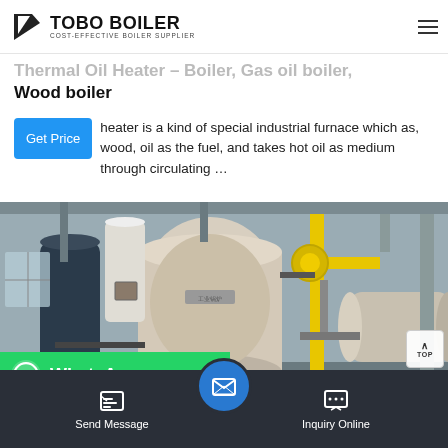TOBO BOILER — COST-EFFECTIVE BOILER SUPPLIER
Thermal Oil Heater – Boiler, Gas oil boiler, Wood boiler
heater is a kind of special industrial furnace which as, wood, oil as the fuel, and takes hot oil as medium through circulating …
[Figure (photo): Industrial boiler equipment photo showing large cylindrical gas boilers with yellow piping and fittings in an industrial facility]
Send Message | Inquiry Online